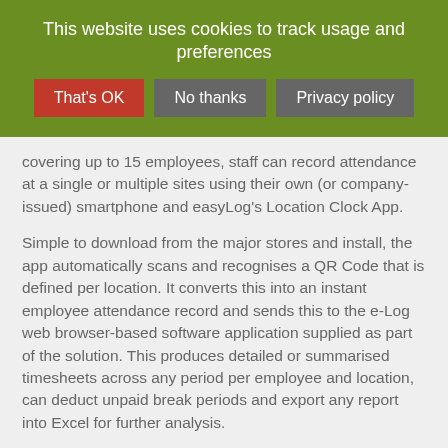This website uses cookies to track usage and preferences
covering up to 15 employees, staff can record attendance at a single or multiple sites using their own (or company-issued) smartphone and easyLog's Location Clock App.
Simple to download from the major stores and install, the app automatically scans and recognises a QR Code that is defined per location. It converts this into an instant employee attendance record and sends this to the e-Log web browser-based software application supplied as part of the solution. This produces detailed or summarised timesheets across any period per employee and location, can deduct unpaid break periods and export any report into Excel for further analysis.